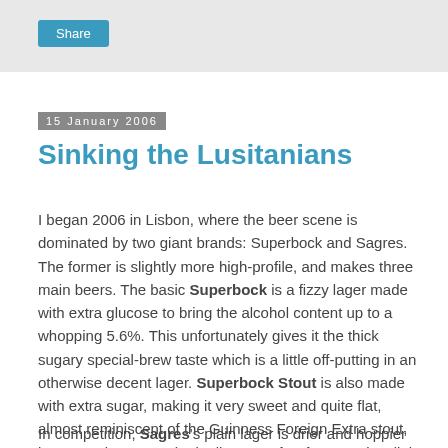Share
15 January 2006
Sinking the Lusitanians
I began 2006 in Lisbon, where the beer scene is dominated by two giant brands: Superbock and Sagres. The former is slightly more high-profile, and makes three main beers. The basic Superbock is a fizzy lager made with extra glucose to bring the alcohol content up to a whopping 5.6%. This unfortunately gives it the thick sugary special-brew taste which is a little off-putting in an otherwise decent lager. Superbock Stout is also made with extra sugar, making it very sweet and quite flat, almost reminiscent of the Guinness Foreign Extra stout, but not quite as good. Finally, Superbock Green is a light, sparkly, lemon-flavoured summer beer - Hoegaarden meets Lemsip. It is a mere 4% alcohol and very easy to drink: doubtless marvellously refreshing on hot days.
In competition, Sagres's plain lager is drier and hoppier than